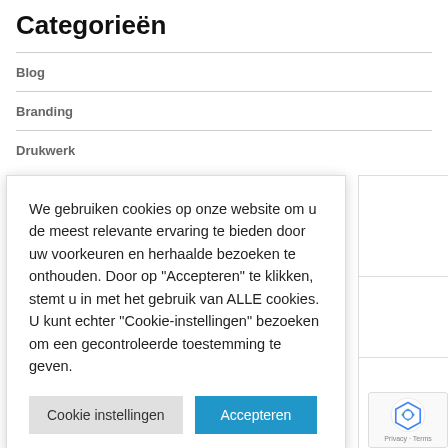Categorieën
Blog
Branding
Drukwerk
We gebruiken cookies op onze website om u de meest relevante ervaring te bieden door uw voorkeuren en herhaalde bezoeken te onthouden. Door op "Accepteren" te klikken, stemt u in met het gebruik van ALLE cookies. U kunt echter "Cookie-instellingen" bezoeken om een gecontroleerde toestemming te geven.
Cookie instellingen  Accepteren